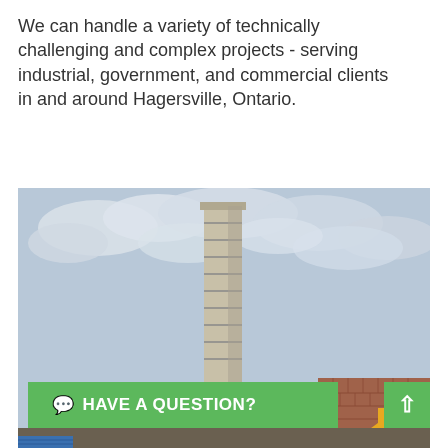We can handle a variety of technically challenging and complex projects - serving industrial, government, and commercial clients in and around Hagersville, Ontario.
[Figure (photo): Photo of a tall industrial chimney/stack structure made of stacked rectangular metal sections, photographed from below against a cloudy sky. A brick building is visible to the right and a crane/boom lift is visible at the lower right. Construction scaffolding is at the base.]
HAVE A QUESTION?